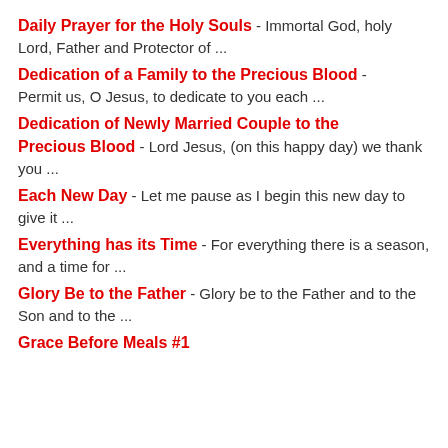Daily Prayer for the Holy Souls - Immortal God, holy Lord, Father and Protector of ...
Dedication of a Family to the Precious Blood - Permit us, O Jesus, to dedicate to you each ...
Dedication of Newly Married Couple to the Precious Blood - Lord Jesus, (on this happy day) we thank you ...
Each New Day - Let me pause as I begin this new day to give it ...
Everything has its Time - For everything there is a season, and a time for ...
Glory Be to the Father - Glory be to the Father and to the Son and to the ...
Grace Before Meals #1 ...